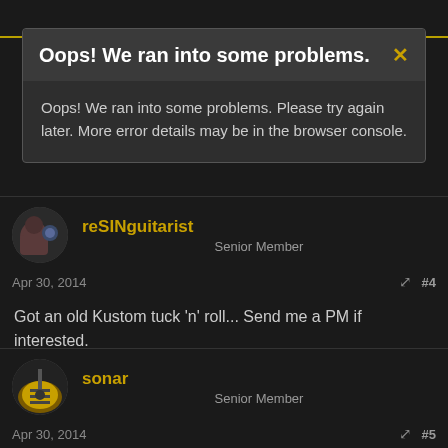[Figure (screenshot): Error modal dialog with dark background. Header reads 'Oops! We ran into some problems.' with a gold X close button. Body text: 'Oops! We ran into some problems. Please try again later. More error details may be in the browser console.']
Oops! We ran into some problems. Please try again later. More error details may be in the browser console.
reSINguitarist
Senior Member
Apr 30, 2014
#4
Got an old Kustom tuck 'n' roll... Send me a PM if interested.
Eli' 🙂
sonar
Senior Member
Apr 30, 2014
#5